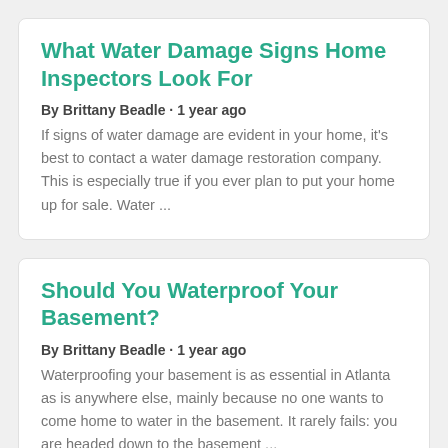What Water Damage Signs Home Inspectors Look For
By Brittany Beadle · 1 year ago
If signs of water damage are evident in your home, it's best to contact a water damage restoration company. This is especially true if you ever plan to put your home up for sale. Water ...
Should You Waterproof Your Basement?
By Brittany Beadle · 1 year ago
Waterproofing your basement is as essential in Atlanta as is anywhere else, mainly because no one wants to come home to water in the basement. It rarely fails: you are headed down to the basement ...